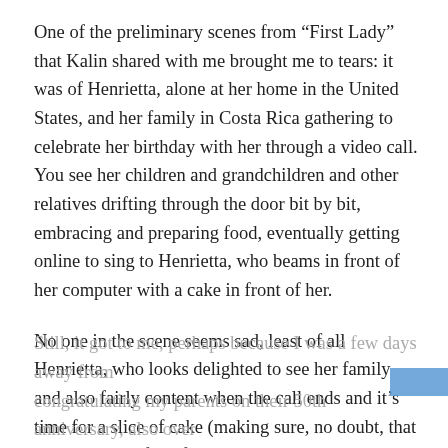One of the preliminary scenes from “First Lady” that Kalin shared with me brought me to tears: it was of Henrietta, alone at her home in the United States, and her family in Costa Rica gathering to celebrate her birthday with her through a video call. You see her children and grandchildren and other relatives drifting through the door bit by bit, embracing and preparing food, eventually getting online to sing to Henrietta, who beams in front of her computer with a cake in front of her.
No one in the scene seems sad, least of all Henrietta, who looks delighted to see her family and also fairly content when the call ends and it’s time for a slice of cake (making sure, no doubt, that the members of the film crew tuck in as well).
Still, it got to me, perhaps because I was a few days away from congratulating my parents on their 50th anniversary, also over